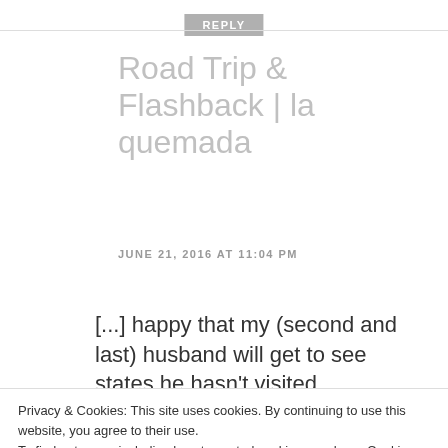REPLY
Road Trip & Flashback | la quemada
JUNE 21, 2016 AT 11:04 PM
[...] happy that my (second and last) husband will get to see states he hasn't visited before.But Self-Loathing makes a
Privacy & Cookies: This site uses cookies. By continuing to use this website, you agree to their use.
To find out more, including how to control cookies, see here: Cookie Policy
Close and accept
REPLY